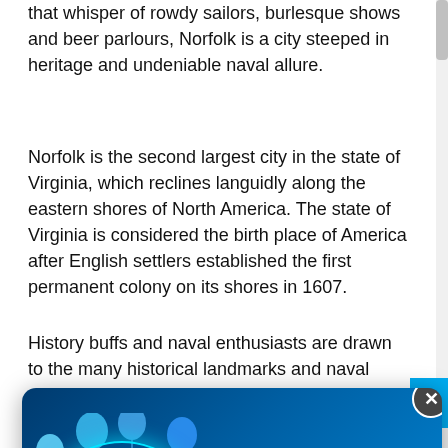that whisper of rowdy sailors, burlesque shows and beer parlours, Norfolk is a city steeped in heritage and undeniable naval allure.
Norfolk is the second largest city in the state of Virginia, which reclines languidly along the eastern shores of North America. The state of Virginia is considered the birth place of America after English settlers established the first permanent colony on its shores in 1607.
History buffs and naval enthusiasts are drawn to the many historical landmarks and naval attractions that dot the city...
[Figure (screenshot): Popup advertisement for a 16th Birthday Sale with balloons on a blue gradient background. Text includes '16TH BIRTHDAY SALE NOW ON', 'Party with us and save big!', 'Holidays, Flights, Vouchers and More!', '25 - 31 August 2022', and a 'Party On >>>' button. There is an X close button.]
Norfolk online at Travelstart.